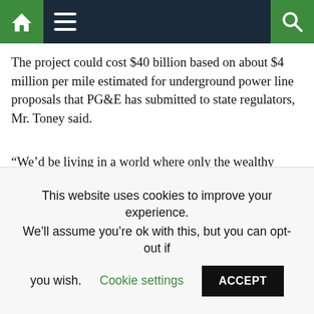[Navigation bar with home, menu, and search icons]
The project could cost $40 billion based on about $4 million per mile estimated for underground power line proposals that PG&E has submitted to state regulators, Mr. Toney said.
“We’d be living in a world where only the wealthy could afford electricity,” Mr. Toney said. “PG&E needs a plan to reduce the most risk possible at the least cost possible to ratepayers.”
Ms. Poppe said the utility hoped to get the per-mile expense down sufficiently to put the overall cost at $15 billion to $20 billion. “We can’t put a price on the risk reduction and safety,” she said.
This website uses cookies to improve your experience. We’ll assume you’re ok with this, but you can opt-out if you wish.  Cookie settings  ACCEPT